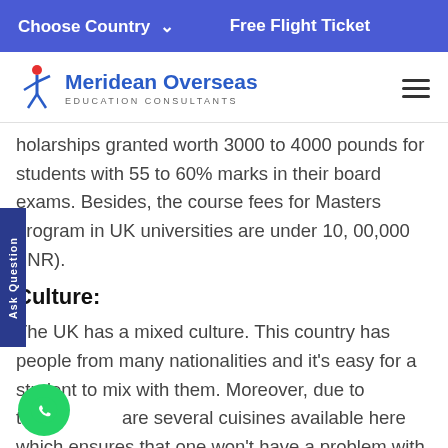Choose Country  ∨    Free Flight Ticket
[Figure (logo): Meridean Overseas Education Consultants logo with a person figure icon in red and blue, company name in blue, tagline in gray]
scholarships granted worth 3000 to 4000 pounds for students with 55 to 60% marks in their board exams. Besides, the course fees for Masters program in UK universities are under 10, 00,000 (INR).
Culture:
The UK has a mixed culture. This country has people from many nationalities and it's easy for a student to mix with them. Moreover, due to this, are several cuisines available here which ensures that one won't have a problem with fooding